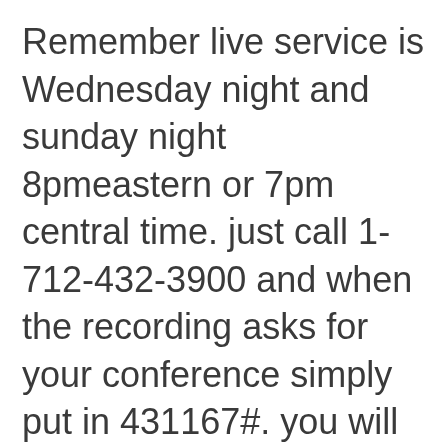Remember live service is Wednesday night and sunday night 8pmeastern or 7pm central time. just call 1-712-432-3900 and when the recording asks for your conference simply put in 431167#. you will be in live service with other Christians.if you cant make our live ervices you can hear our recordings at 1-712-432-3903. same conference number of 431167#. God bless you all.